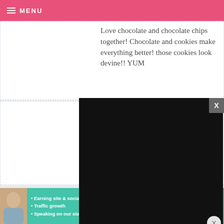MENU
Love chocolate and chocolate chips together! Chocolate and cookies make everything better! those cookies look devine!! YUM
LUCY — N...
I believe [text partly obscured] tomorrow [text partly obscured] peanut b[text partly obscured]
[Figure (screenshot): Video player overlay showing a dark/black video with play button, progress bar at 13:52, and controls including mute, CC, grid, settings, and fullscreen buttons]
[Figure (photo): Advertisement banner for SHE Partner Network with a woman photo, bullet points about earning site & social revenue, traffic growth, speaking on stages, logo and Learn More button]